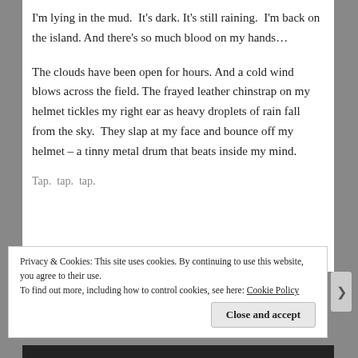I'm lying in the mud. It's dark. It's still raining. I'm back on the island. And there's so much blood on my hands...
The clouds have been open for hours. And a cold wind blows across the field. The frayed leather chinstrap on my helmet tickles my right ear as heavy droplets of rain fall from the sky. They slap at my face and bounce off my helmet – a tinny metal drum that beats inside my mind.
Tap. tap. tap.
Privacy & Cookies: This site uses cookies. By continuing to use this website, you agree to their use.
To find out more, including how to control cookies, see here: Cookie Policy